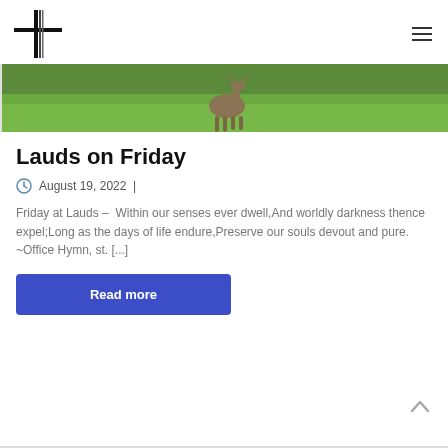Site logo and navigation menu
[Figure (photo): Photo of a deer standing in a green grassy field, partially visible at the top]
Lauds on Friday
August 19, 2022
Friday at Lauds –  Within our senses ever dwell,And worldly darkness thence expel;Long as the days of life endure,Preserve our souls devout and pure. ~Office Hymn, st. [...]
Read more